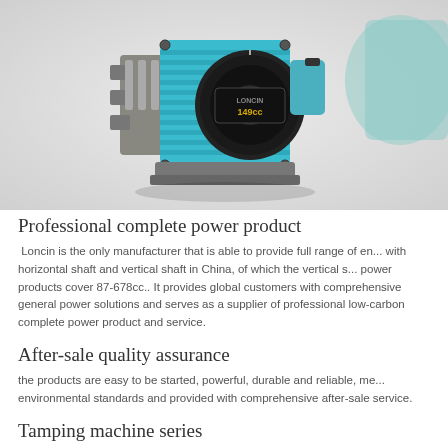[Figure (photo): A teal/cyan colored Loncin engine (149cc) with pull-start recoil mechanism, shown from the side with mechanical components visible on the left. Another piece of equipment partially visible on the right. Gray background.]
Professional complete power product
Loncin is the only manufacturer that is able to provide full range of engines with horizontal shaft and vertical shaft in China, of which the vertical shaft power products cover 87-678cc.. It provides global customers with comprehensive general power solutions and serves as a supplier of professional low-carbon complete power product and service.
After-sale quality assurance
the products are easy to be started, powerful, durable and reliable, meet environmental standards and provided with comprehensive after-sale service.
Tamping machine series
it is a model that is developed aiming at the special requirements for engineering machinery and specific workplaces. It can be widely...